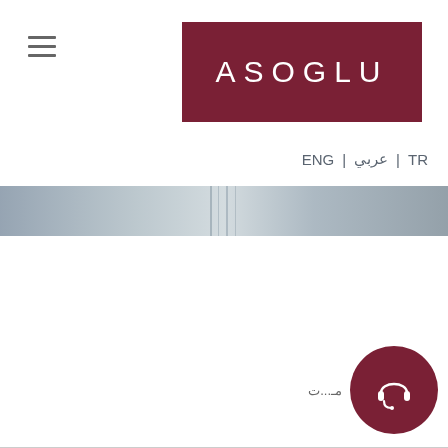[Figure (logo): ASOGLU brand logo — white capital letters on dark maroon/wine colored rectangle with border]
ENG | عربي | TR
[Figure (photo): Narrow horizontal banner photo showing an interior/architectural scene in muted blue-grey tones]
[Figure (illustration): Dark maroon circular support/customer service button with headset icon, with Arabic text label to the left]